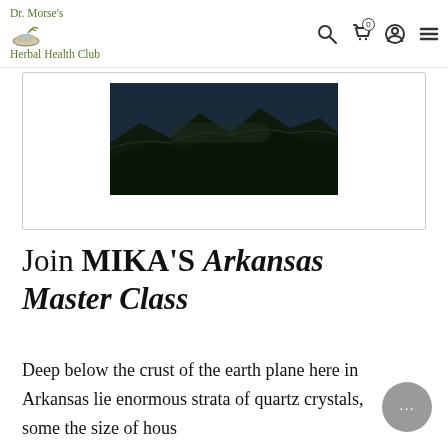Dr. Morse's Herbal Health Club
[Figure (photo): Aerial landscape photo of forested mountains/hills in Arkansas, dark green tones, inside a bordered card]
Join MIKA'S Arkansas Master Class
Deep below the crust of the earth plane here in Arkansas lie enormous strata of quartz crystals, some the size of houses. Impossible to reach with human hands, these are the very seeds/computers that